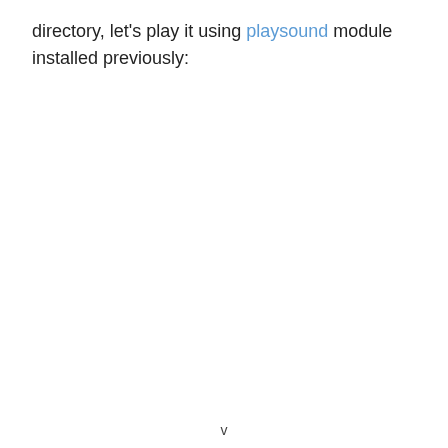directory, let's play it using playsound module installed previously:
v